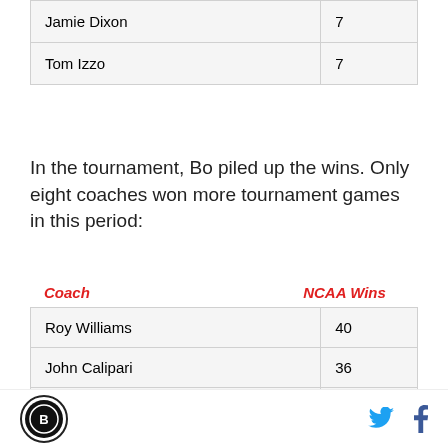| Coach |  |
| --- | --- |
| Jamie Dixon | 7 |
| Tom Izzo | 7 |
In the tournament, Bo piled up the wins. Only eight coaches won more tournament games in this period:
| Coach | NCAA Wins |
| --- | --- |
| Roy Williams | 40 |
| John Calipari | 36 |
| Mike Krzyzewski | 32 |
| Tom Izzo | 30 |
| Bill Self | 30 |
| Rick Pitino | 27 |